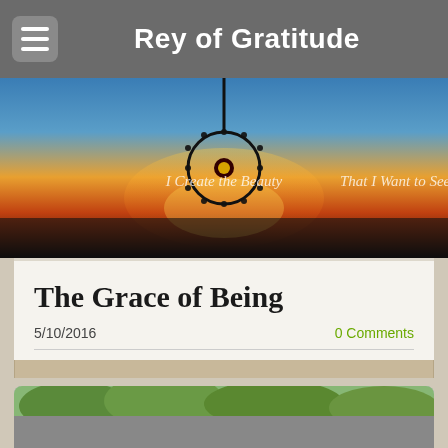Rey of Gratitude
[Figure (photo): Hero banner image showing a silhouetted ornate pendant against a sunset sky with text 'I Create the Beauty That I Want to See']
The Grace of Being
5/10/2016
0 Comments
[Figure (photo): Photograph of tree canopy with green leaves against a light sky, partially visible at the bottom of the page]